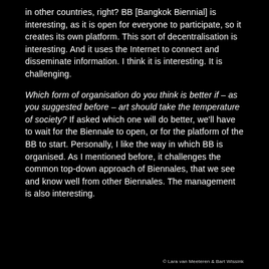in other countries, right? BB [Bangkok Biennial] is interesting, as it is open for everyone to participate, so it creates its own platform. This sort of decentralisation is interesting. And it uses the Internet to connect and disseminate information. I think it is interesting. It is challenging.
Which form of organisation do you think is better if – as you suggested before – art should take the temperature of society? If asked which one will do better, we'll have to wait for the Biennale to open, or for the platform of the BB to start. Personally, I like the way in which BB is organised. As I mentioned before, it challenges the common top-down approach of Biennales, that we see and know well from other Biennales. The management is also interesting.
© Lara van Meeteren & Bart Wissink